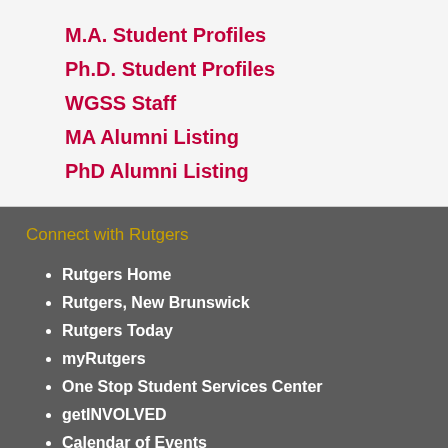M.A. Student Profiles
Ph.D. Student Profiles
WGSS Staff
MA Alumni Listing
PhD Alumni Listing
Connect with Rutgers
Rutgers Home
Rutgers, New Brunswick
Rutgers Today
myRutgers
One Stop Student Services Center
getINVOLVED
Calendar of Events
SAS Events
Explore SAS